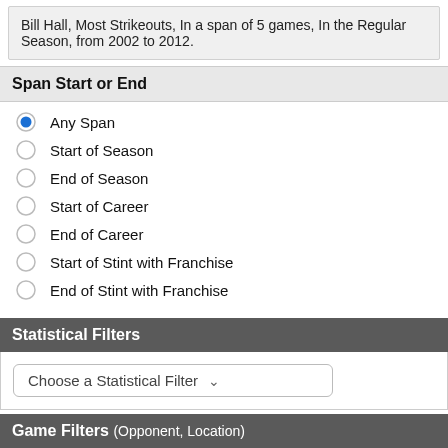Bill Hall, Most Strikeouts, In a span of 5 games, In the Regular Season, from 2002 to 2012.
Span Start or End
Any Span
Start of Season
End of Season
Start of Career
End of Career
Start of Stint with Franchise
End of Stint with Franchise
Statistical Filters
Choose a Statistical Filter
Player Filters (Team, Age, etc...)
Choose a Player Filter
Game Filters (Opponent, Location)